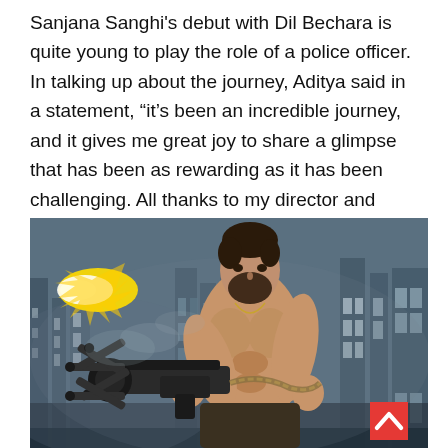Sanjana Sanghi's debut with Dil Bechara is quite young to play the role of a police officer.  In talking up about the journey, Aditya said in a statement, “it’s been an incredible journey, and it gives me great joy to share a glimpse that has been as rewarding as it has been challenging. All thanks to my director and producers are going to love all the elements of this wholesome entertainer!”
[Figure (photo): A shirtless muscular man with a beard holding a large multi-barreled minigun, firing it with a muzzle flash. The scene appears cinematic with a smoky, dramatic background featuring building structures.]